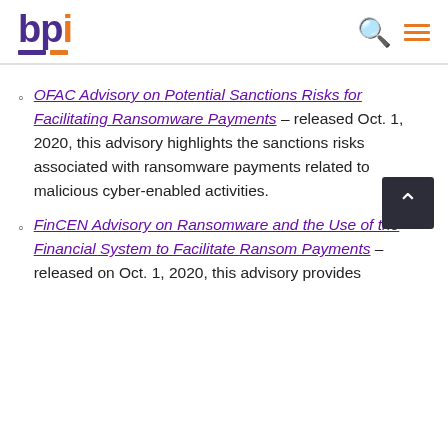bpi
OFAC Advisory on Potential Sanctions Risks for Facilitating Ransomware Payments – released Oct. 1, 2020, this advisory highlights the sanctions risks associated with ransomware payments related to malicious cyber-enabled activities.
FinCEN Advisory on Ransomware and the Use of the Financial System to Facilitate Ransom Payments – released on Oct. 1, 2020, this advisory provides